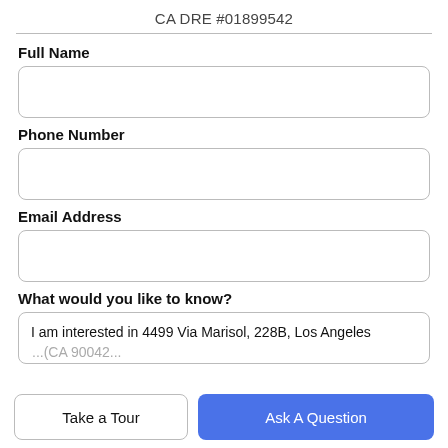CA DRE #01899542
Full Name
Phone Number
Email Address
What would you like to know?
I am interested in 4499 Via Marisol, 228B, Los Angeles
Take a Tour
Ask A Question